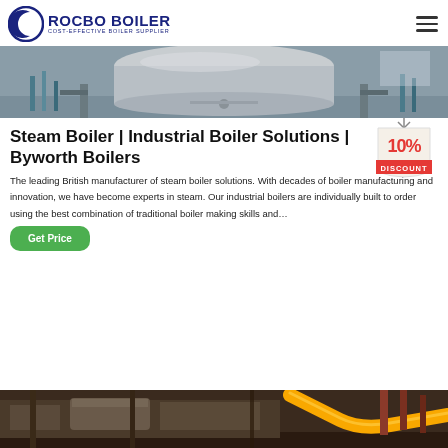ROCBO BOILER — COST-EFFECTIVE BOILER SUPPLIER
[Figure (photo): Industrial steam boiler installation inside a factory with pipes, metal framework, and a large cylindrical boiler tank]
Steam Boiler | Industrial Boiler Solutions | Byworth Boilers
[Figure (infographic): 10% DISCOUNT badge/label graphic]
The leading British manufacturer of steam boiler solutions. With decades of boiler manufacturing and innovation, we have become experts in steam. Our industrial boilers are individually built to order using the best combination of traditional boiler making skills and…
Get Price
[Figure (photo): Industrial equipment interior showing yellow pipes and metal ductwork in a boiler room]